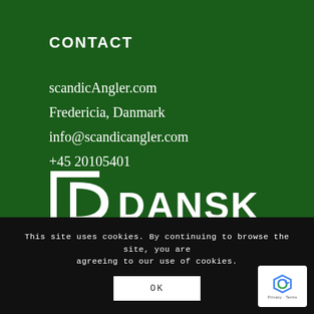CONTACT
scandicAngler.com
Fredericia, Danmark
info@scandicangler.com
+45 20105401
[Figure (logo): DD DANSK LYSTFISKERI logo in white on dark green background]
This site uses cookies. By continuing to browse the site, you are agreeing to our use of cookies.
OK